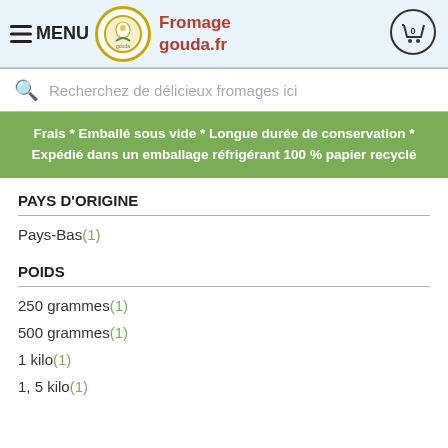≡ MENU  Fromage gouda.fr  [cart icon 0]
Recherchez de délicieux fromages ici
Frais * Emballé sous vide * Longue durée de conservation * Expédié dans un emballage réfrigérant 100 % papier recyclé
PAYS D'ORIGINE
Pays-Bas(1)
POIDS
250 grammes(1)
500 grammes(1)
1 kilo(1)
1, 5 kilo(1)